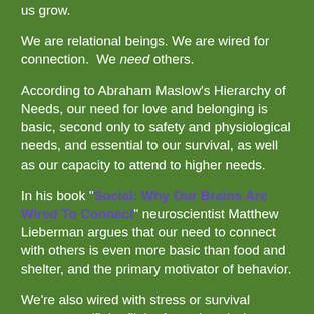us grow.
We are relational beings. We are wired for connection.  We need others.
According to Abraham Maslow's Hierarchy of Needs, our need for love and belonging is basic, second only to safety and physiological needs, and essential to our survival, as well as our capacity to attend to higher needs.
In his book "Social: Why Our Brains Are Wired To Connect" neuroscientist Matthew Lieberman argues that our need to connect with others is even more basic than food and shelter, and the primary motivator of behavior.
We're also wired with stress or survival responses, (fight, flight, freeze) and when they are chronically activated, as they have been for so many of us